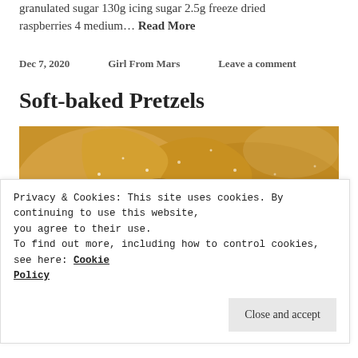granulated sugar 130g icing sugar 2.5g freeze dried raspberries 4 medium… Read More
Dec 7, 2020   Girl From Mars   Leave a comment
Soft-baked Pretzels
[Figure (photo): Close-up photo of soft-baked pretzels coated in sugar, golden-brown color]
Privacy & Cookies: This site uses cookies. By continuing to use this website, you agree to their use.
To find out more, including how to control cookies, see here: Cookie Policy
Close and accept